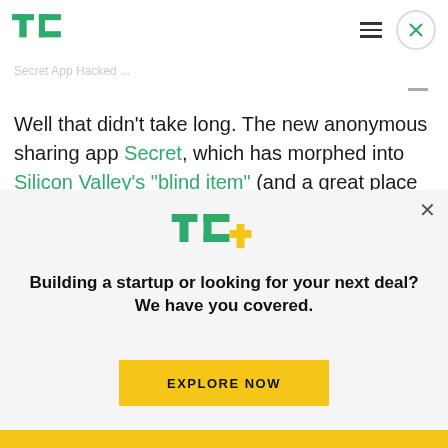TechCrunch logo, hamburger menu icon, close button
Well that didn't take long. The new anonymous sharing app Secret, which has morphed into Silicon Valley's “blind item” (and a great place to troll reporters, apparently) has been hacked. Don't worry, it's not that serious. The hack doesn't expose who said what – though we're sure someone is
[Figure (logo): TechCrunch TC+ logo in green with yellow plus sign]
Building a startup or looking for your next deal? We have you covered.
EXPLORE NOW